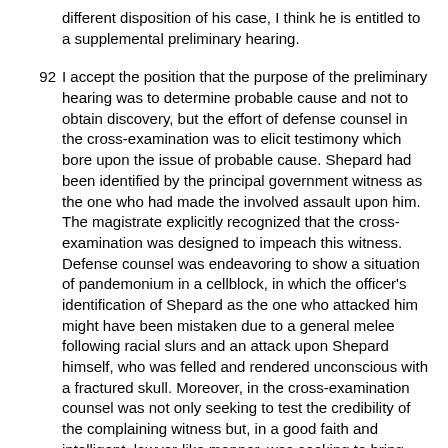different disposition of his case, I think he is entitled to a supplemental preliminary hearing.
92 I accept the position that the purpose of the preliminary hearing was to determine probable cause and not to obtain discovery, but the effort of defense counsel in the cross-examination was to elicit testimony which bore upon the issue of probable cause. Shepard had been identified by the principal government witness as the one who had made the involved assault upon him. The magistrate explicitly recognized that the cross-examination was designed to impeach this witness. Defense counsel was endeavoring to show a situation of pandemonium in a cellblock, in which the officer's identification of Shepard as the one who attacked him might have been mistaken due to a general melee following racial slurs and an attack upon Shepard himself, who was felled and rendered unconscious with a fractured skull. Moreover, in the cross-examination counsel was not only seeking to test the credibility of the complaining witness but, in a good faith and intelligent, lawyer-like manner, was seeking to bring before the magistrate a fair exposition of what occurred, which had by no means been adequately developed by the government's witnesses. Thus, after being repeatedly rebuffed, counsel stated: